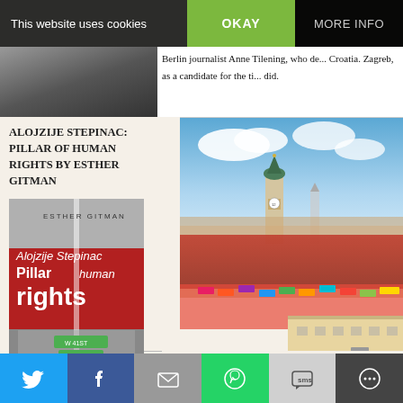This website uses cookies
OKAY
MORE INFO
[Figure (photo): Partial photo of a person, dark background top left]
Berlin journalist Anne Tilening, who de... Croatia. Zagreb, as a candidate for the t... did.
ALOJZIJE STEPINAC: PILLAR OF HUMAN RIGHTS BY ESTHER GITMAN
[Figure (photo): Book cover: Alojzije Stepinac Pillar of human rights by Esther Gitman, red and grey cover with New York street signs]
[Figure (photo): Aerial photograph of Dolac markets in Zagreb showing church tower, red-roofed buildings and colorful market stalls]
Dolac markets Zagreb
Social share buttons: Twitter, Facebook, Email, WhatsApp, SMS, More